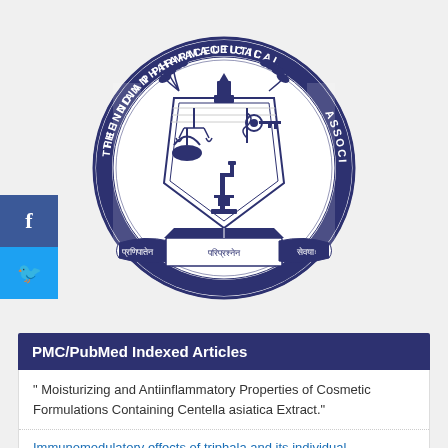[Figure (logo): The Indian Pharmaceutical Association circular seal/logo with Sanskrit text and pharmaceutical symbols including microscope, mortar, scales, and laurel wreath. Text reads 'THE INDIAN PHARMACEUTICAL ASSOCIATION' around the circle and Sanskrit inscriptions on banners below.]
PMC/PubMed Indexed Articles
" Moisturizing and Antiinflammatory Properties of Cosmetic Formulations Containing Centella asiatica Extract."
Immunomodulatory effects of triphala and its individual